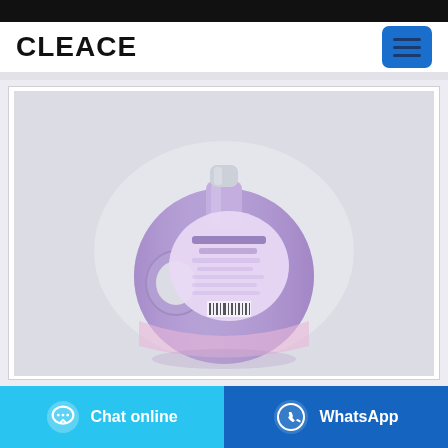CLEACE
[Figure (photo): Purple laundry detergent bottle (back view) with label, handle, and cap, shown against a light grey background]
Chat online
WhatsApp